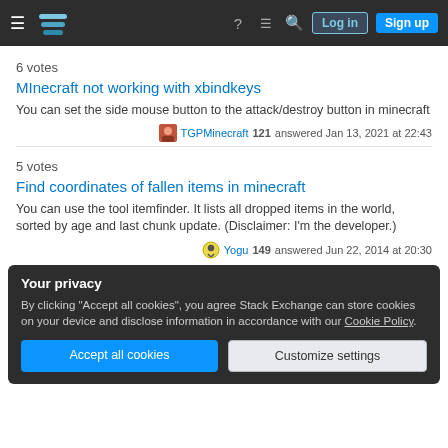Stack Exchange navigation bar with Log in and Sign up buttons
6 votes
MInecraft not working with xbindkeys
You can set the side mouse button to the attack/destroy button in minecraft
TGPMinecraft 121 answered Jan 13, 2021 at 22:43
5 votes
Find coordinates of fallen items in minecraft
You can use the tool itemfinder. It lists all dropped items in the world, sorted by age and last chunk update. (Disclaimer: I'm the developer.)
Yogu 149 answered Jun 22, 2014 at 20:30
Your privacy
By clicking "Accept all cookies", you agree Stack Exchange can store cookies on your device and disclose information in accordance with our Cookie Policy.
Accept all cookies
Customize settings